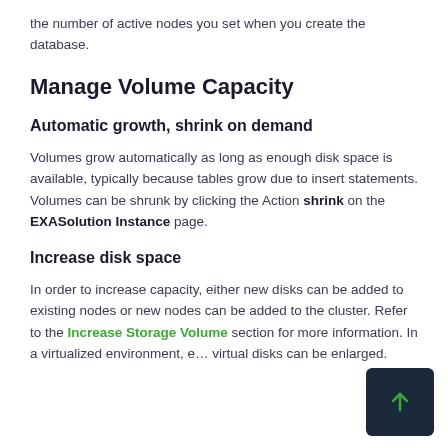the number of active nodes you set when you create the database.
Manage Volume Capacity
Automatic growth, shrink on demand
Volumes grow automatically as long as enough disk space is available, typically because tables grow due to insert statements. Volumes can be shrunk by clicking the Action shrink on the EXASolution Instance page.
Increase disk space
In order to increase capacity, either new disks can be added to existing nodes or new nodes can be added to the cluster. Refer to the Increase Storage Volume section for more information. In a virtualized environment, e… virtual disks can be enlarged.
[Figure (other): Scroll-to-top button with upward arrow on dark navy background]